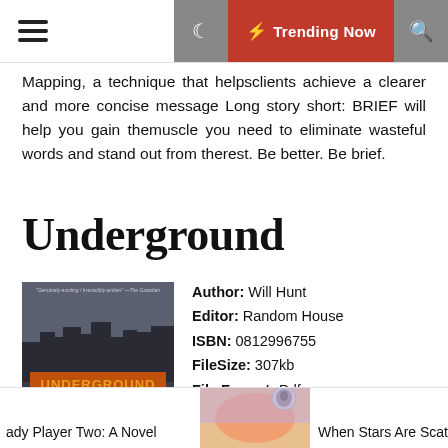☰  🌙  ⚡ Trending Now  🔍
Mapping, a technique that helpsclients achieve a clearer and more concise message Long story short: BRIEF will help you gain themuscle you need to eliminate wasteful words and stand out from therest. Be better. Be brief.
Underground
[Figure (illustration): Book cover for 'Underground: A Human History of the Worlds Beneath Our Feet' by Will Hunt, published by Random House]
Author: Will Hunt
Editor: Random House
ISBN: 0812996755
FileSize: 307kb
File Format: Pdf
Read: 307
READ BOOK
ady Player Two: A Novel    When Stars Are Scat